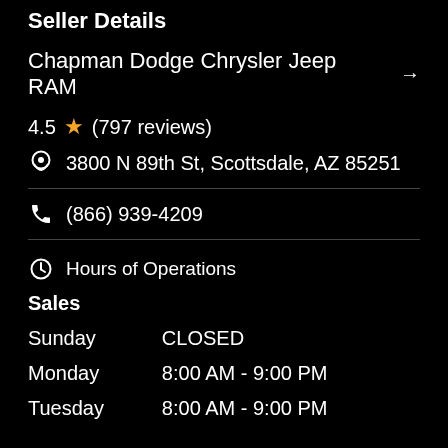Seller Details
Chapman Dodge Chrysler Jeep RAM →
4.5 ★ (797 reviews)
3800 N 89th St, Scottsdale, AZ 85251
(866) 939-4209
Hours of Operations
Sales
| Day | Hours |
| --- | --- |
| Sunday | CLOSED |
| Monday | 8:00 AM - 9:00 PM |
| Tuesday | 8:00 AM - 9:00 PM |